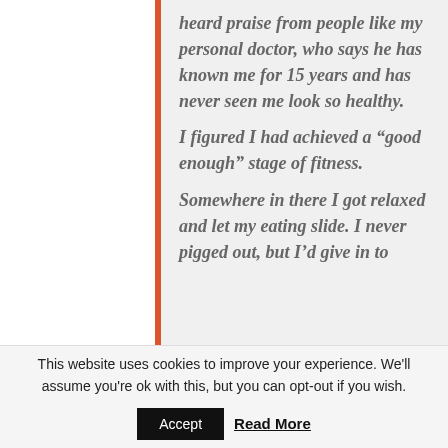heard praise from people like my personal doctor, who says he has known me for 15 years and has never seen me look so healthy.
I figured I had achieved a “good enough” stage of fitness.
Somewhere in there I got relaxed and let my eating slide. I never pigged out, but I’d give in to
This website uses cookies to improve your experience. We'll assume you're ok with this, but you can opt-out if you wish.
Accept   Read More